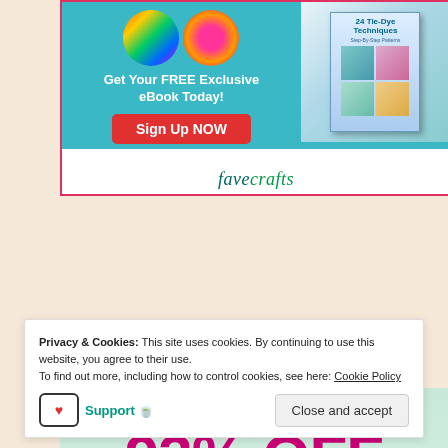[Figure (infographic): FaveCrafts promotional ad banner: Get Your FREE Exclusive eBook Today! Sign Up NOW button, with tiedye and flower images, book cover showing '24 Tie-Dye Techniques', and favecrafts logo at bottom]
[Figure (infographic): Easy Canvas Prints advertisement: 'easy CANVAS PRINTS 93% OFF CANVAS PRINTS' with photo of woman and child outdoors]
Privacy & Cookies: This site uses cookies. By continuing to use this website, you agree to their use.
To find out more, including how to control cookies, see here: Cookie Policy
Support 🍵
Close and accept